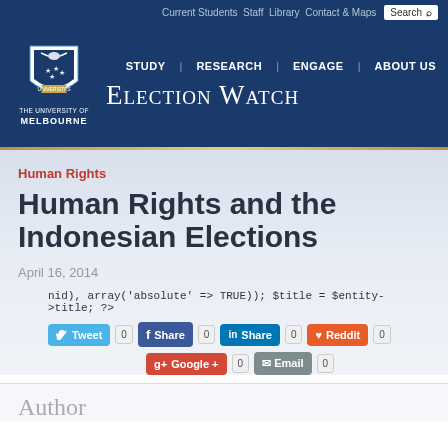Current Students Staff Library Contact & Maps Search
[Figure (logo): University of Melbourne shield logo with eagle and stars, white on dark blue background]
THE UNIVERSITY OF MELBOURNE — ELECTION WATCH — STUDY | RESEARCH | ENGAGE | ABOUT US
Human Rights
Human Rights and the Indonesian Elections
April 16, 2014
nid), array('absolute' => TRUE)); $title = $entity->title; ?>
Tweet 0  Share 0  Share 0  Reddit 0  Google + 0  Email 0
Author